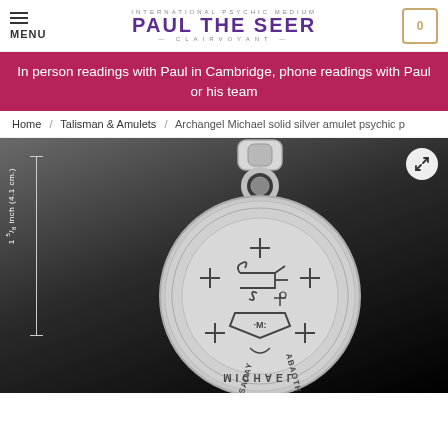MENU | INTERNATIONAL PSYCHIC MEDIUM PAUL THE SEER CLAIRVOYANT | Cart: 0
In person readings with Paul in Cambridge, phone readings with Paul or his team
Home / Talisman & Amulets / Archangel Michael solid silver amulet psychic p
[Figure (photo): Silver Archangel Michael amulet pendant on dark background, showing engraved sigil and text MICHAEL, SADAY, ABAOTH, with size indicator showing 1 5/8 inch (4.1 cm.)]